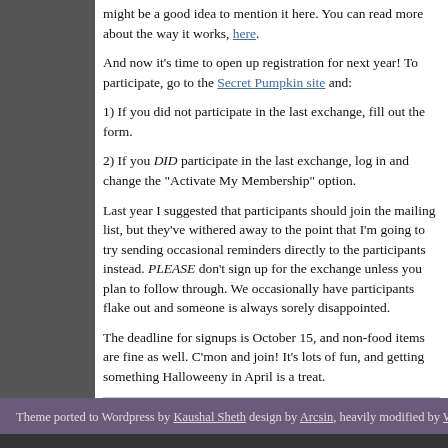might be a good idea to mention it here. You can read more about the way it works, here.
And now it's time to open up registration for next year! To participate, go to the Secret Pumpkin site and:
1) If you did not participate in the last exchange, fill out the form.
2) If you DID participate in the last exchange, log in and change the "Activate My Membership" option.
Last year I suggested that participants should join the mailing list, but they've withered away to the point that I'm going to try sending occasional reminders directly to the participants instead. PLEASE don't sign up for the exchange unless you plan to follow through. We occasionally have participants flake out and someone is always sorely disappointed.
The deadline for signups is October 15, and non-food items are fine as well. C'mon and join! It's lots of fun, and getting something Halloweeny in April is a treat.
Posted in Whatever | 4 Comments »
« Previous Entries
Theme ported to Wordpress by Kaushal Sheth design by Arcsin, heavily modified by We...